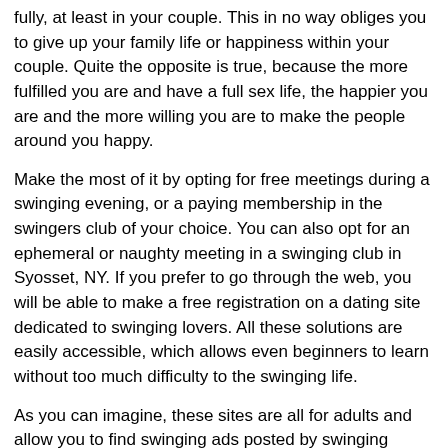fully, at least in your couple. This in no way obliges you to give up your family life or happiness within your couple. Quite the opposite is true, because the more fulfilled you are and have a full sex life, the happier you are and the more willing you are to make the people around you happy.
Make the most of it by opting for free meetings during a swinging evening, or a paying membership in the swingers club of your choice. You can also opt for an ephemeral or naughty meeting in a swinging club in Syosset, NY. If you prefer to go through the web, you will be able to make a free registration on a dating site dedicated to swinging lovers. All these solutions are easily accessible, which allows even beginners to learn without too much difficulty to the swinging life.
As you can imagine, these sites are all for adults and allow you to find swinging ads posted by swinging couples and singles who want to try a one-night stand adventure with a couple. You will therefore be able to register on these sites, without necessarily having to create false profiles, because your identity will be kept secret. You will be able to indulge your fantasies and participate